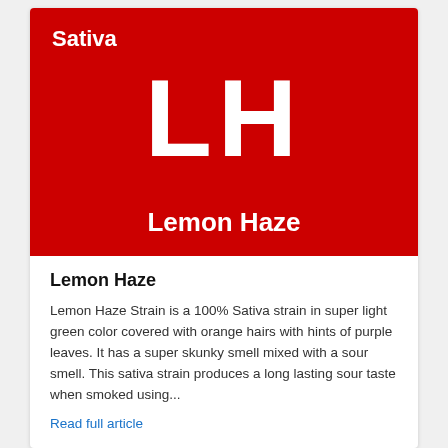[Figure (illustration): Red banner with white text 'Sativa' in top left, large white 'LH' monogram in center, and 'Lemon Haze' text at bottom center.]
Lemon Haze
Lemon Haze Strain is a 100% Sativa strain in super light green color covered with orange hairs with hints of purple leaves. It has a super skunky smell mixed with a sour smell. This sativa strain produces a long lasting sour taste when smoked using...
Read full article